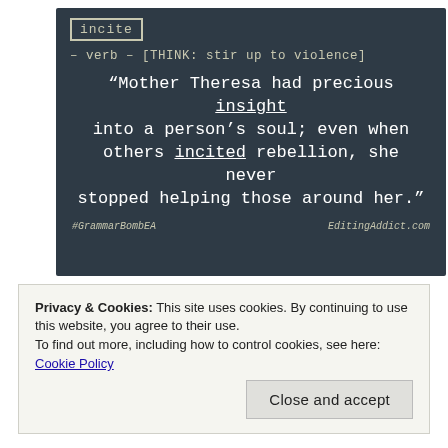[Figure (illustration): Chalkboard image showing the word 'incite' in a box followed by '– verb – [THINK: stir up to violence]', then a quote in white chalk handwriting: 'Mother Theresa had precious insight into a person's soul; even when others incited rebellion, she never stopped helping those around her.' with underlines on 'insight' and 'incited'. Footer shows '#GrammarBombEA' and 'EditingAddict.com'.]
“insight” | noun | [THINK: deep understanding]
“incite” | verb | [THINK: stir up to violence]
Privacy & Cookies: This site uses cookies. By continuing to use this website, you agree to their use.
To find out more, including how to control cookies, see here: Cookie Policy